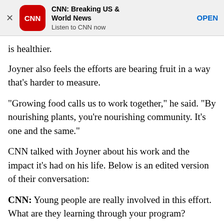[Figure (screenshot): CNN app advertisement banner with CNN logo, title 'CNN: Breaking US & World News', subtitle 'Listen to CNN now', and OPEN button]
is healthier.
Joyner also feels the efforts are bearing fruit in a way that's harder to measure.
“Growing food calls us to work together,” he said. “By nourishing plants, you’re nourishing community. It’s one and the same.”
CNN talked with Joyner about his work and the impact it’s had on his life. Below is an edited version of their conversation:
CNN: Young people are really involved in this effort. What are they learning through your program?
Richard Joyner: One of the biggest things the youth